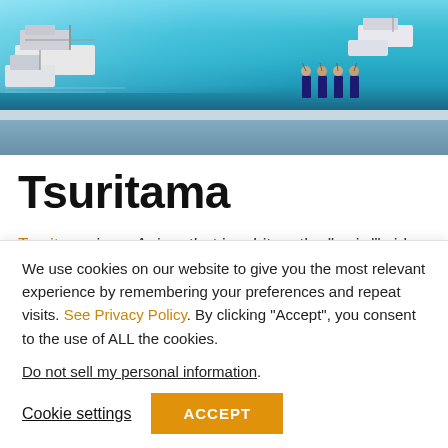[Figure (illustration): Anime screenshot showing a harbor/port scene with turquoise water, boats on the left, and four anime characters standing on a dock holding fishing rods on the right side]
Tsuritama
Tsuritama is an Anime that is a bit on the "weird" side with the premise, but it does still stay true to the concept of
We use cookies on our website to give you the most relevant experience by remembering your preferences and repeat visits. See Privacy Policy. By clicking "Accept", you consent to the use of ALL the cookies.
Do not sell my personal information.
Cookie settings  ACCEPT